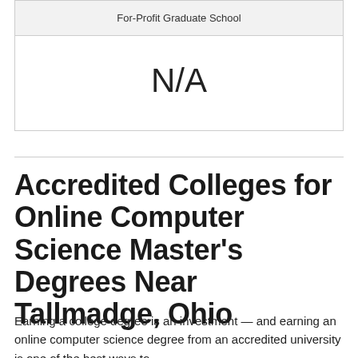| For-Profit Graduate School |
| --- |
| N/A |
Accredited Colleges for Online Computer Science Master's Degrees Near Tallmadge, Ohio
Earning a college degree is an investment — and earning an online computer science degree from an accredited university is one of the best ways to